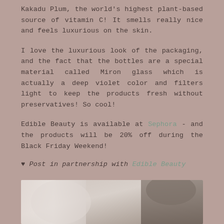Kakadu Plum, the world's highest plant-based source of vitamin C! It smells really nice and feels luxurious on the skin.
I love the luxurious look of the packaging, and the fact that the bottles are a special material called Miron glass which is actually a deep violet color and filters light to keep the products fresh without preservatives! So cool!
Edible Beauty is available at Sephora - and the products will be 20% off during the Black Friday Weekend!
♥ Post in partnership with Edible Beauty
[Figure (photo): Blurred background photo of beauty product bottles, partially visible at bottom of page]